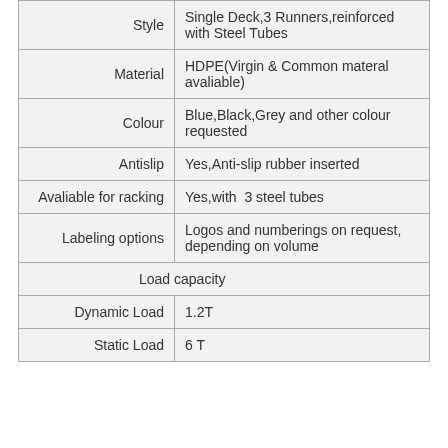| Property | Value |
| --- | --- |
| Style | Single Deck,3 Runners,reinforced with Steel Tubes |
| Material | HDPE(Virgin & Common materal avaliable) |
| Colour | Blue,Black,Grey and other colour requested |
| Antislip | Yes,Anti-slip rubber inserted |
| Avaliable for racking | Yes,with  3 steel tubes |
| Labeling options | Logos and numberings on request, depending on volume |
| Load capacity |  |
| Dynamic Load | 1.2T |
| Static Load | 6 T |